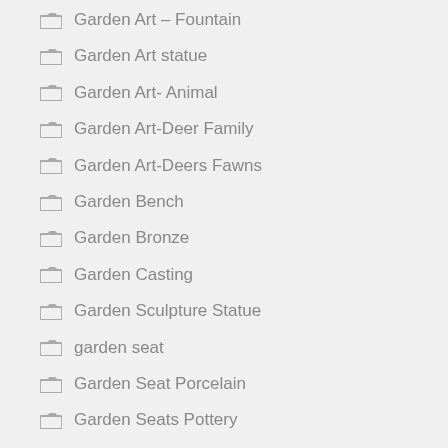Garden Art – Fountain
Garden Art statue
Garden Art- Animal
Garden Art-Deer Family
Garden Art-Deers Fawns
Garden Bench
Garden Bronze
Garden Casting
Garden Sculpture Statue
garden seat
Garden Seat Porcelain
Garden Seats Pottery
Garden Statue